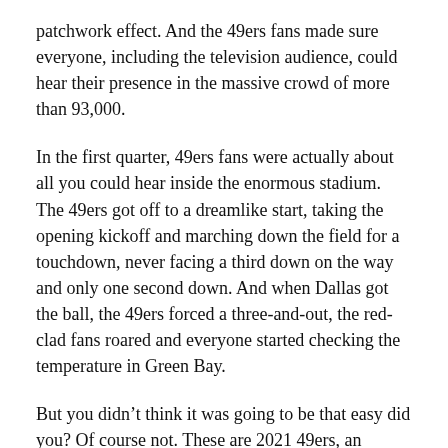patchwork effect. And the 49ers fans made sure everyone, including the television audience, could hear their presence in the massive crowd of more than 93,000.
In the first quarter, 49ers fans were actually about all you could hear inside the enormous stadium. The 49ers got off to a dreamlike start, taking the opening kickoff and marching down the field for a touchdown, never facing a third down on the way and only one second down. And when Dallas got the ball, the 49ers forced a three-and-out, the red-clad fans roared and everyone started checking the temperature in Green Bay.
But you didn’t think it was going to be that easy did you? Of course not. These are 2021 49ers, an agonizing, erratic, dramatic team that can snatch defeat from the jaws of victory. To which nothing comes easily.